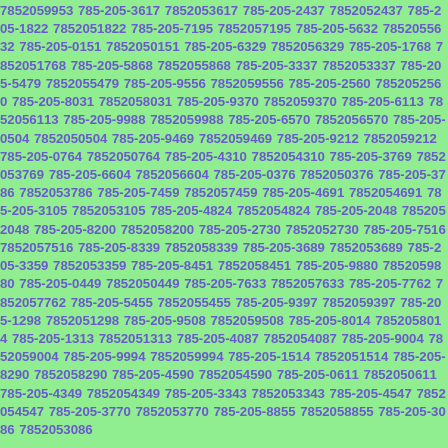7852059953 785-205-3617 7852053617 785-205-2437 7852052437 785-205-1822 7852051822 785-205-7195 7852057195 785-205-5632 7852055632 785-205-0151 7852050151 785-205-6329 7852056329 785-205-1768 7852051768 785-205-5868 7852055868 785-205-3337 7852053337 785-205-5479 7852055479 785-205-9556 7852059556 785-205-2560 7852052560 785-205-8031 7852058031 785-205-9370 7852059370 785-205-6113 7852056113 785-205-9988 7852059988 785-205-6570 7852056570 785-205-0504 7852050504 785-205-9469 7852059469 785-205-9212 7852059212 785-205-0764 7852050764 785-205-4310 7852054310 785-205-3769 7852053769 785-205-6604 7852056604 785-205-0376 7852050376 785-205-3786 7852053786 785-205-7459 7852057459 785-205-4691 7852054691 785-205-3105 7852053105 785-205-4824 7852054824 785-205-2048 7852052048 785-205-8200 7852058200 785-205-2730 7852052730 785-205-7516 7852057516 785-205-8339 7852058339 785-205-3689 7852053689 785-205-3359 7852053359 785-205-8451 7852058451 785-205-9880 7852059880 785-205-0449 7852050449 785-205-7633 7852057633 785-205-7762 7852057762 785-205-5455 7852055455 785-205-9397 7852059397 785-205-1298 7852051298 785-205-9508 7852059508 785-205-8014 7852058014 785-205-1313 7852051313 785-205-4087 7852054087 785-205-9004 7852059004 785-205-9994 7852059994 785-205-1514 7852051514 785-205-8290 7852058290 785-205-4590 7852054590 785-205-0611 7852050611 785-205-4349 7852054349 785-205-3343 7852053343 785-205-4547 7852054547 785-205-3770 7852053770 785-205-8855 7852058855 785-205-3086 7852053086